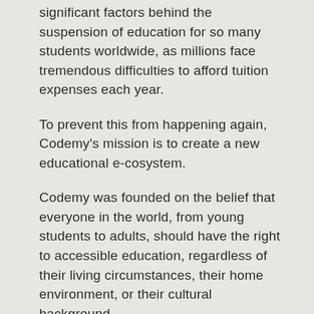significant factors behind the suspension of education for so many students worldwide, as millions face tremendous difficulties to afford tuition expenses each year.
To prevent this from happening again, Codemy's mission is to create a new educational e-cosystem.
Codemy was founded on the belief that everyone in the world, from young students to adults, should have the right to accessible education, regardless of their living circumstances, their home environment, or their cultural background.